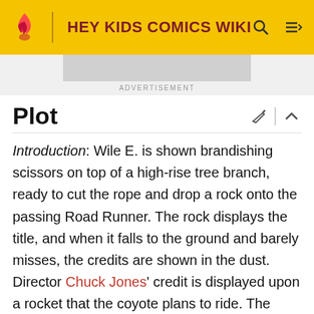HEY KIDS COMICS WIKI
ADVERTISEMENT
Plot
Introduction: Wile E. is shown brandishing scissors on top of a high-rise tree branch, ready to cut the rope and drop a rock onto the passing Road Runner. The rock displays the title, and when it falls to the ground and barely misses, the credits are shown in the dust. Director Chuck Jones' credit is displayed upon a rocket that the coyote plans to ride. The letters in Jones' name and his director credit fall off the rocket as it takes off. The rocket is paused in mid-flight to show the coyote's Latinesque name: Hardheadipus Oedipus. The Road Runner is still leading the way, and his flight is paused to show his